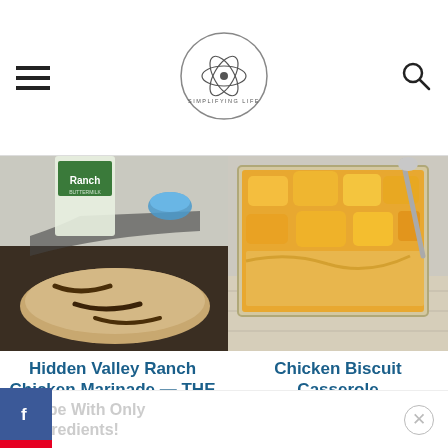Simplifying Life (logo/navigation header)
[Figure (photo): Grilled chicken with Hidden Valley Ranch dressing visible in background]
[Figure (photo): Chicken Biscuit Casserole in glass baking dish with cheesy biscuit topping being served]
Hidden Valley Ranch Chicken Marinade — THE BEST Chicken
Chicken Biscuit Casserole
Recipe With Only 4 Ingredients!